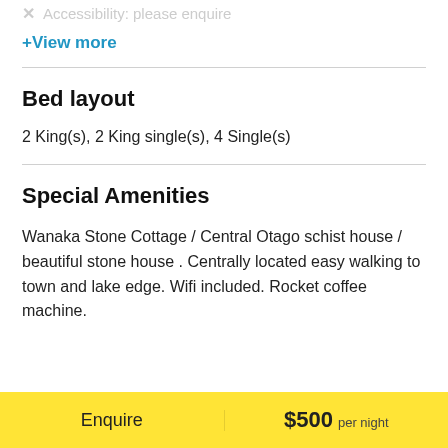✗  Accessibility: please enquire
+View more
Bed layout
2 King(s), 2 King single(s), 4 Single(s)
Special Amenities
Wanaka Stone Cottage / Central Otago schist house / beautiful stone house . Centrally located easy walking to town and lake edge. Wifi included. Rocket coffee machine.
Enquire   $500 per night